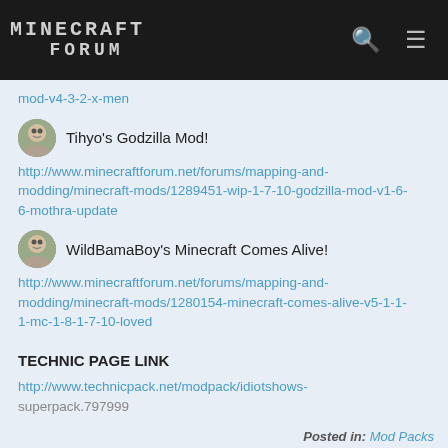MINECRAFT FORUM
mod-v4-3-2-x-men
Tihyo's Godzilla Mod!
http://www.minecraftforum.net/forums/mapping-and-modding/minecraft-mods/1289451-wip-1-7-10-godzilla-mod-v1-6-6-mothra-update
WildBamaBoy's Minecraft Comes Alive!
http://www.minecraftforum.net/forums/mapping-and-modding/minecraft-mods/1280154-minecraft-comes-alive-v5-1-1-1-mc-1-8-1-7-10-loved
TECHNIC PAGE LINK
http://www.technicpack.net/modpack/idiotshows-superpack.797999
Posted in: Mod Packs